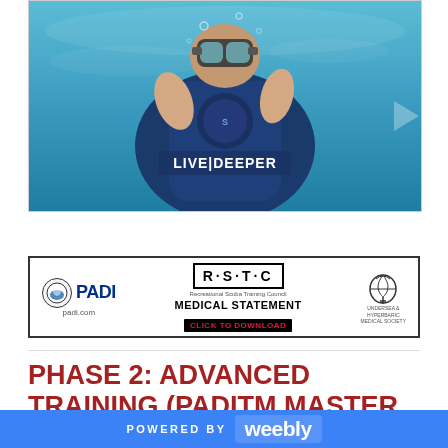[Figure (photo): Underwater photo of a scuba diver wearing a Scubapro BCD with 'LIVE|DEEPER' text visible on the vest, diver making an OK sign with hand]
[Figure (other): Pinterest Save button in red]
[Figure (other): RSTC PADI Medical Statement banner with 'CLICK TO DOWNLOAD' button and UHMS logo]
PHASE 2: ADVANCED TRAINING (PADITM MASTER SCUBA DIVER PROGRAM)
POWERED BY weebly